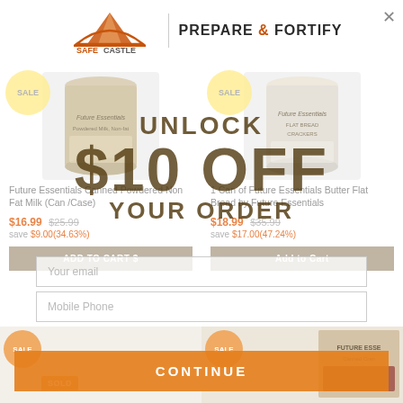[Figure (logo): SafeCastle logo with mountain icon and 'PREPARE & FORTIFY' text]
[Figure (screenshot): E-commerce product grid showing Future Essentials canned food products with sale prices and Add to Cart buttons, overlaid by a $10 OFF promotional popup with email and mobile phone input fields and a Continue button]
UNLOCK $10 OFF YOUR ORDER
Future Essentials Canned Powdered Non Fat Milk (Can/Case)
$16.99  $25.99
save $9.00(34.63%)
1 Can of Future Essentials Butter Flat Bread by Future Essentials
$18.99  $35.99
save $17.00(47.24%)
Your email
Mobile Phone
CONTINUE
ADD TO CART $
Add to Cart
SALE
SOLD